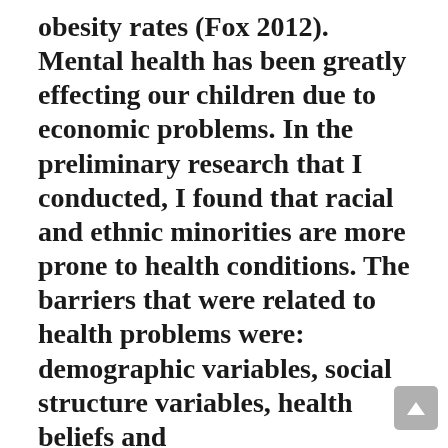obesity rates (Fox 2012). Mental health has been greatly effecting our children due to economic problems. In the preliminary research that I conducted, I found that racial and ethnic minorities are more prone to health conditions. The barriers that were related to health problems were: demographic variables, social structure variables, health beliefs and